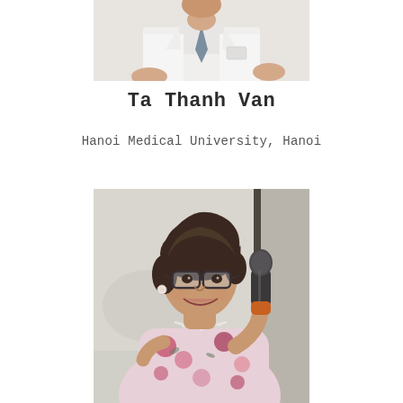[Figure (photo): Partial photo of a person in a white coat and tie, cropped at top of page]
Ta Thanh Van
Hanoi Medical University, Hanoi
[Figure (photo): Photo of a woman with short dark hair and glasses, wearing a floral blouse and holding a microphone, smiling]